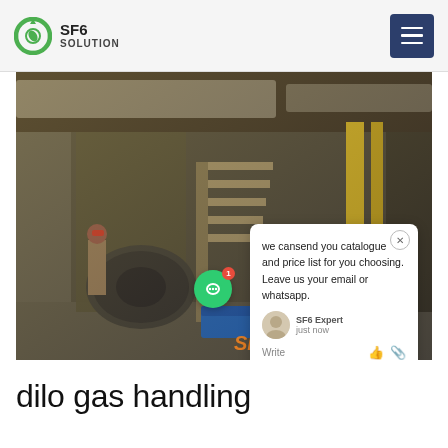SF6 SOLUTION
[Figure (photo): Industrial facility interior with large equipment, pipes, and workers in protective gear. A chat popup overlay reads: 'we cansend you catalogue and price list for you choosing. Leave us your email or whatsapp.' with SF6 Expert agent shown. SF6China watermark in orange.]
dilo gas handling